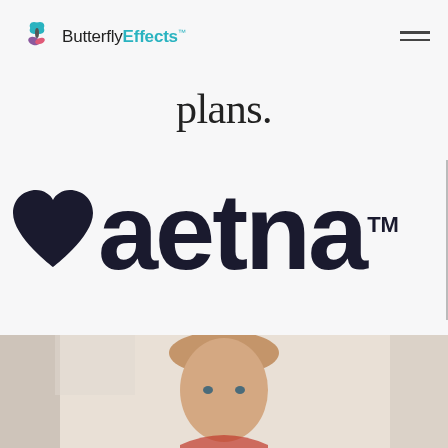[Figure (logo): Butterfly Effects logo with butterfly icon and text 'ButterflyEffects' in teal and dark colors, with trademark symbol]
[Figure (other): Hamburger menu icon (three horizontal lines) in top right corner]
plans.
[Figure (logo): Aetna logo: large black heart icon followed by bold black 'aetna' text with TM superscript, partially cropped on right edge]
[Figure (photo): Photo of a young girl with blonde hair in a ponytail looking at the camera, cropped at the bottom of the page]